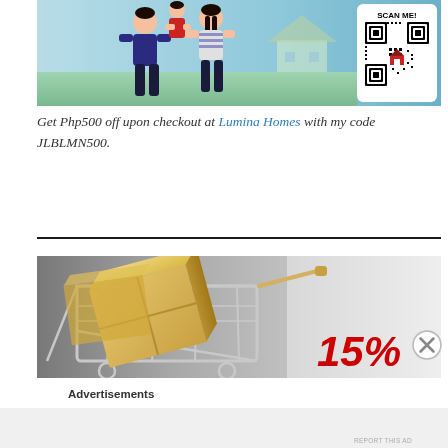[Figure (photo): Advertisement banner showing a happy Filipino family (man, woman, and child) with a house in background and a QR code box labeled SCAN ME! in the top right corner. Lumina Homes promotional ad.]
Get Php500 off upon checkout at Lumina Homes with my code JLBLMN500.
[Figure (photo): Advertisement banner showing a shopping cart filled with cardboard boxes, with large red bold italic text '15%' visible on the right side of the image.]
Advertisements
REPORT THIS AD